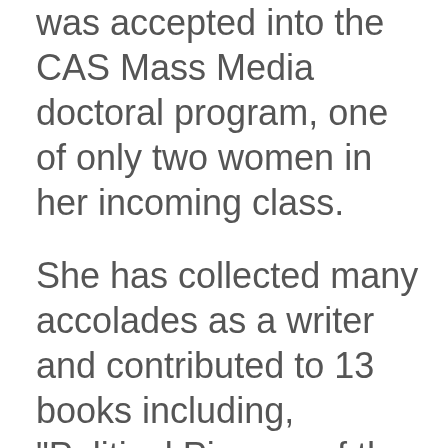was accepted into the CAS Mass Media doctoral program, one of only two women in her incoming class.
She has collected many accolades as a writer and contributed to 13 books including, "Political Pioneer of the Press: Ida B. Wells-Barnett and Her Transnational Crusade for Social Justice" (2018)